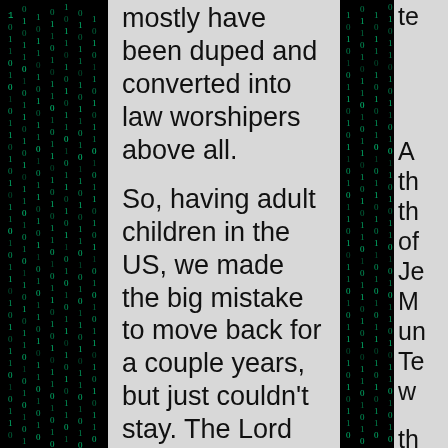mostly have been duped and converted into law worshipers above all.
So, having adult children in the US, we made the big mistake to move back for a couple years, but just couldn't stay. The Lord urged us to move out in faith again. This time we've moved to Central America, with the thought that someday we will move back to Jerusalem. In fact, someday, all true followers of Yahshua will eventually move to Jerusalem - but that's another story.
Meanwhile, I have been blessed with work here and continue to share the Scriptures by blogging and ministering in various online